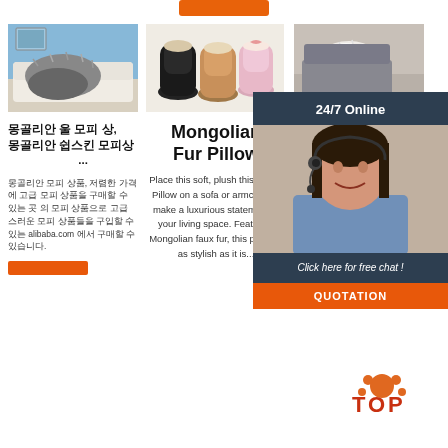[Figure (photo): Top orange button/banner bar at top center]
[Figure (photo): Product image: grey fur throw on white sofa in blue room]
[Figure (photo): Product image: three pairs of mini UGG-style boots in black, tan, and pink]
[Figure (photo): Product image: white fur pillow in room setting]
몽골리안 울 모피 상, 몽골리안 쉽스킨 모피상 ...
Mongolian Fur Pillow
Su... F... En... austr...
몽골리안 모피 상품, 저렴한 가격에 고급 모피 상품을 구매할 수 있는 곳 의 모피 상품으로 고급 스러운 모피 상품들을 구입할 수 있는 alibaba.com 에서 구매할 수 있습니다.
Place this soft, plush this Throw Pillow on a sofa or armchair to make a luxurious statement in your living space. Featuring Mongolian faux fur, this pillow is as stylish as it is...
Subaru... a 2.5-litre horizontally-opposed (or 'boxer') four-cylinder petrol engine. Effectively replacing the
[Figure (infographic): 24/7 Online chat overlay with agent photo, Click here for free chat!, and QUOTATION button]
[Figure (logo): TOP logo with paw print icon in orange/red]